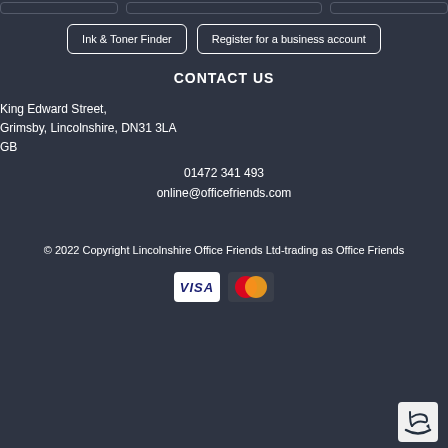Ink & Toner Finder
Register for a business account
CONTACT US
King Edward Street,
Grimsby, Lincolnshire, DN31 3LA
GB
01472 341 493
online@officefriends.com
© 2022 Copyright Lincolnshire Office Friends Ltd-trading as Office Friends
[Figure (logo): VISA payment logo (white background, blue italic text)]
[Figure (logo): Mastercard payment logo (two overlapping circles, red and orange)]
[Figure (logo): Amazon chat/smile icon (white speech bubble with smile on dark background)]